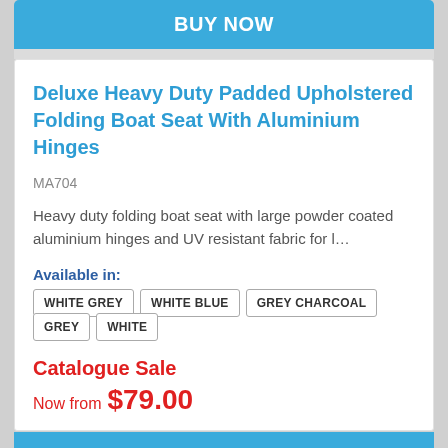BUY NOW
Deluxe Heavy Duty Padded Upholstered Folding Boat Seat With Aluminium Hinges
MA704
Heavy duty folding boat seat with large powder coated aluminium hinges and UV resistant fabric for l…
Available in:
WHITE GREY
WHITE BLUE
GREY CHARCOAL
GREY
WHITE
Catalogue Sale
Now from  $79.00